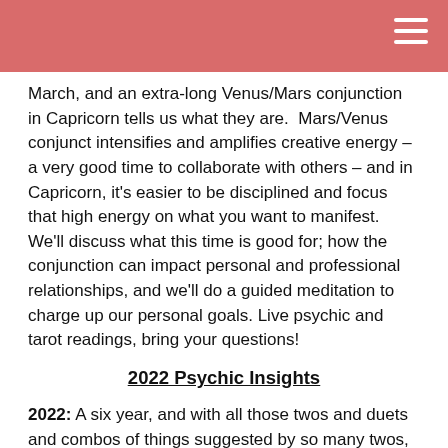March, and an extra-long Venus/Mars conjunction in Capricorn tells us what they are.  Mars/Venus conjunct intensifies and amplifies creative energy – a very good time to collaborate with others – and in Capricorn, it's easier to be disciplined and focus that high energy on what you want to manifest. We'll discuss what this time is good for; how the conjunction can impact personal and professional relationships, and we'll do a guided meditation to charge up our personal goals. Live psychic and tarot readings, bring your questions!
2022 Psychic Insights
2022: A six year, and with all those twos and duets and combos of things suggested by so many twos, it highlights the importance of partnership.  The number 6 symbolizes success and is associated with the healing Sun, and success comes from connecting with others, helping people, and working together in 2022.